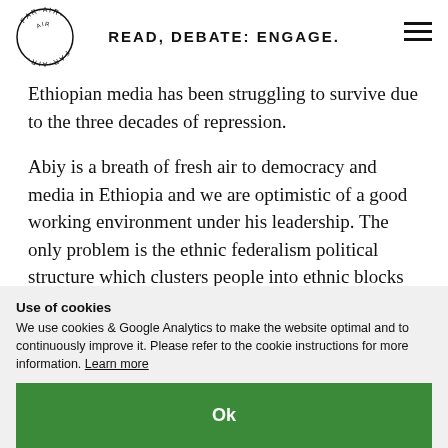READ, DEBATE: ENGAGE.
Ethiopian media has been struggling to survive due to the three decades of repression.
Abiy is a breath of fresh air to democracy and media in Ethiopia and we are optimistic of a good working environment under his leadership. The only problem is the ethnic federalism political structure which clusters people into ethnic blocks and makes one a second class citizen whenever they visit a certain part of Ethiopia. The Prime
Use of cookies
We use cookies & Google Analytics to make the website optimal and to continuously improve it. Please refer to the cookie instructions for more information. Learn more
Ok